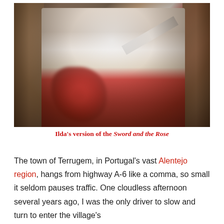[Figure (photo): A smiling woman in a white chef's jacket and red apron, wearing a floral head covering, holding a large red rose toward the camera in one hand and a kitchen knife in the other, posing between brown curtains.]
Ilda's version of the Sword and the Rose
The town of Terrugem, in Portugal's vast Alentejo region, hangs from highway A-6 like a comma, so small it seldom pauses traffic. One cloudless afternoon several years ago, I was the only driver to slow and turn to enter the village's